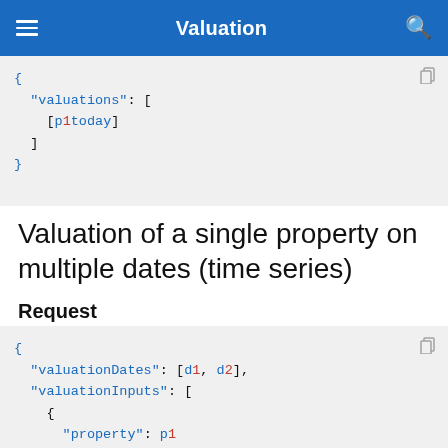Valuation
{
  "valuations": [
    [p1today]
  ]
}
Valuation of a single property on multiple dates (time series)
Request
{
  "valuationDates": [d1, d2],
  "valuationInputs": [
    {
      "property": p1
    }